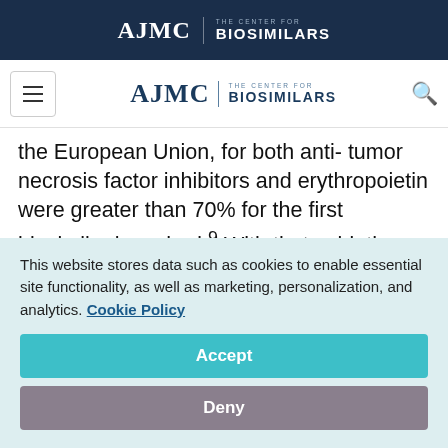AJMC | THE CENTER FOR BIOSIMILARS
[Figure (logo): AJMC The Center for Biosimilars navigation logo with hamburger menu and search icon]
the European Union, for both anti-tumor necrosis factor inhibitors and erythropoietin were greater than 70% for the first biosimilar launched.9 With that said, the potential impact of a delayed US market release, subsequent to an FDA complete response letter for example, can
This website stores data such as cookies to enable essential site functionality, as well as marketing, personalization, and analytics. Cookie Policy
Accept
Deny